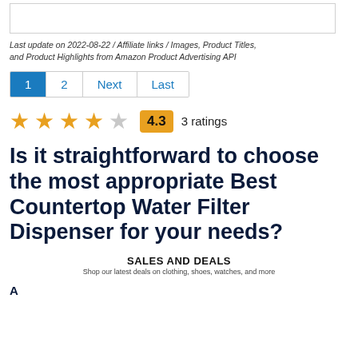[Figure (other): Product image placeholder box]
Last update on 2022-08-22 / Affiliate links / Images, Product Titles, and Product Highlights from Amazon Product Advertising API
1  2  Next  Last (pagination)
4.3  3 ratings (star rating)
Is it straightforward to choose the most appropriate Best Countertop Water Filter Dispenser for your needs?
SALES AND DEALS
Shop our latest deals on clothing, shoes, watches, and more
A partial line of text at bottom